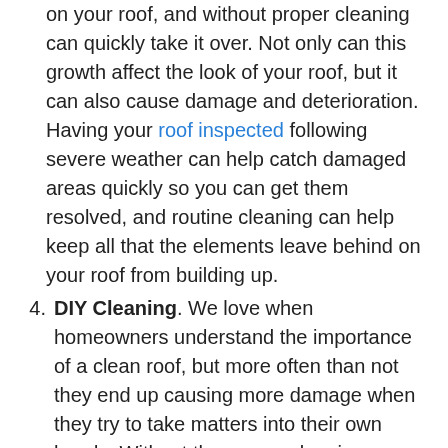on your roof, and without proper cleaning can quickly take it over. Not only can this growth affect the look of your roof, but it can also cause damage and deterioration. Having your roof inspected following severe weather can help catch damaged areas quickly so you can get them resolved, and routine cleaning can help keep all that the elements leave behind on your roof from building up.
4. DIY Cleaning. We love when homeowners understand the importance of a clean roof, but more often than not they end up causing more damage when they try to take matters into their own hands. Without the proper cleaning techniques and equipment, you can actually do more harm than good to your roofing material. Pressure or aggressive/abrasive cleaning methods can damage and weaken your roofing material. Not only do you risk damaging your